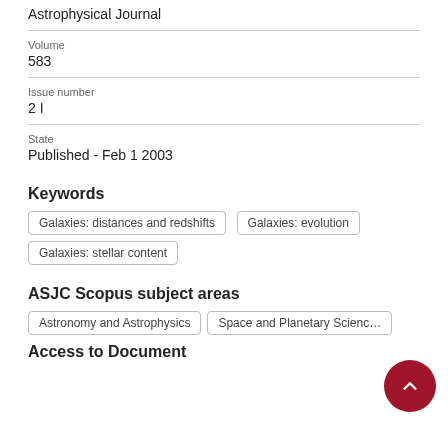Astrophysical Journal
Volume
583
Issue number
2 I
State
Published - Feb 1 2003
Keywords
Galaxies: distances and redshifts
Galaxies: evolution
Galaxies: stellar content
ASJC Scopus subject areas
Astronomy and Astrophysics
Space and Planetary Science
Access to Document